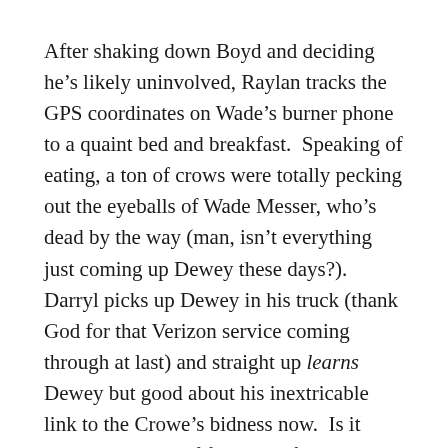After shaking down Boyd and deciding he’s likely uninvolved, Raylan tracks the GPS coordinates on Wade’s burner phone to a quaint bed and breakfast.  Speaking of eating, a ton of crows were totally pecking out the eyeballs of Wade Messer, who’s dead by the way (man, isn’t everything just coming up Dewey these days?).  Darryl picks up Dewey in his truck (thank God for that Verizon service coming through at last) and straight up learns Dewey but good about his inextricable link to the Crowe’s bidness now.  Is it weird that I sort of feel sorry for Dewey Crowe, career lowlife?  Well, I do, and I’m sorry I’m not sorry!
Raylan, meanwhile, is not really pleased with